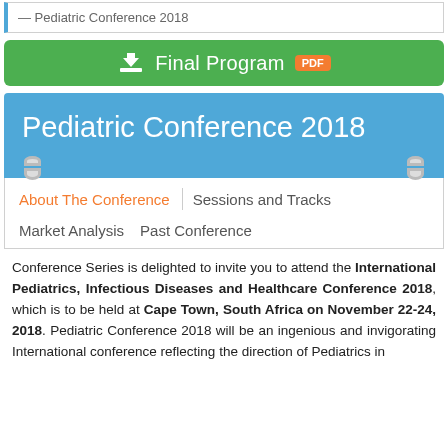— Pediatric Conference 2018
[Figure (other): Green download button labeled 'Final Program PDF']
Pediatric Conference 2018
About The Conference | Sessions and Tracks | Market Analysis | Past Conference
Conference Series is delighted to invite you to attend the International Pediatrics, Infectious Diseases and Healthcare Conference 2018, which is to be held at Cape Town, South Africa on November 22-24, 2018. Pediatric Conference 2018 will be an ingenious and invigorating International conference reflecting the direction of Pediatrics in